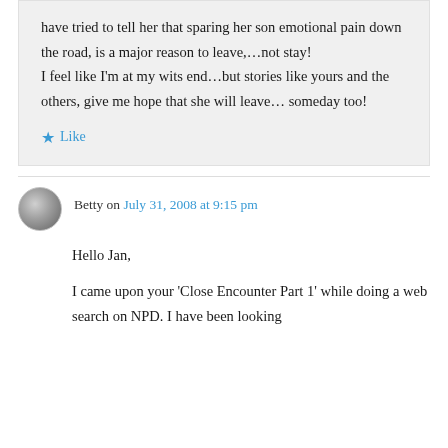have tried to tell her that sparing her son emotional pain down the road, is a major reason to leave,…not stay!
I feel like I'm at my wits end…but stories like yours and the others, give me hope that she will leave… someday too!
★ Like
Betty on July 31, 2008 at 9:15 pm
Hello Jan,
I came upon your 'Close Encounter Part 1' while doing a web search on NPD. I have been looking